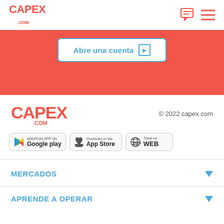CAPEX .COM
[Figure (screenshot): Red banner with 'Abre una cuenta' button in white with blue border, and a right-pointing arrow]
[Figure (logo): CAPEX.COM large logo in red]
© 2022 capex.com
[Figure (screenshot): Three app store badges: Android App on Google Play, Download on the App Store, Trade on WEB]
MERCADOS
APRENDE A OPERAR